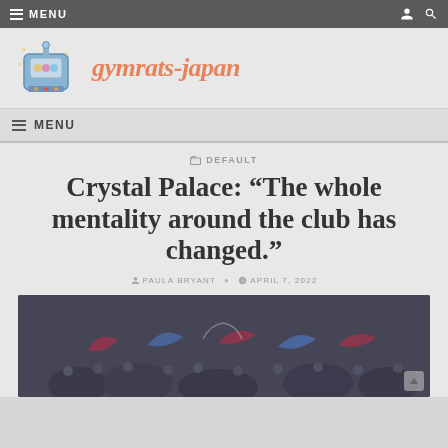MENU
[Figure (logo): gymrats-japan website logo with slot-machine style illustration and orange italic text reading 'gymrats-japan']
MENU
DEFAULT
Crystal Palace: “The whole mentality around the club has changed.”
PAULA BRYANT   APRIL 7, 2022
[Figure (photo): Dark crowd photo showing Crystal Palace football fans with red and blue flags/scarves]